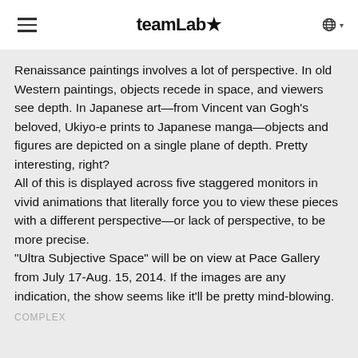teamLab★
Renaissance paintings involves a lot of perspective. In old Western paintings, objects recede in space, and viewers see depth. In Japanese art—from Vincent van Gogh's beloved, Ukiyo-e prints to Japanese manga—objects and figures are depicted on a single plane of depth. Pretty interesting, right?
All of this is displayed across five staggered monitors in vivid animations that literally force you to view these pieces with a different perspective—or lack of perspective, to be more precise.
"Ultra Subjective Space" will be on view at Pace Gallery from July 17-Aug. 15, 2014. If the images are any indication, the show seems like it'll be pretty mind-blowing.
COMPLEX